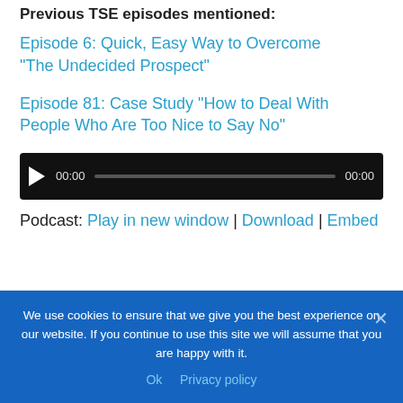Previous TSE episodes mentioned:
Episode 6: Quick, Easy Way to Overcome “The Undecided Prospect”
Episode 81: Case Study “How to Deal With People Who Are Too Nice to Say No”
[Figure (other): Audio player widget with play button, 00:00 time counter, progress bar, and 00:00 duration.]
Podcast: Play in new window | Download | Embed
We use cookies to ensure that we give you the best experience on our website. If you continue to use this site we will assume that you are happy with it.
Ok   Privacy policy